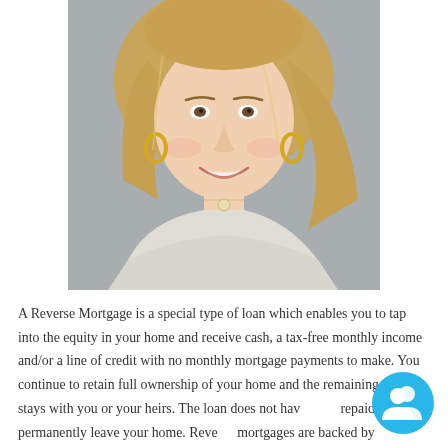[Figure (photo): Headshot of a smiling blonde woman wearing a light cream/white knit sweater and small pendant necklace, with gold hoop earrings, photographed against a blurred background.]
A Reverse Mortgage is a special type of loan which enables you to tap into the equity in your home and receive cash, a tax-free monthly income and/or a line of credit with no monthly mortgage payments to make. You continue to retain full ownership of your home and the remaining equity stays with you or your heirs. The loan does not have to be repaid until you permanently leave your home. Reverse mortgages are backed by FHA/HUD therefore protecting
[Figure (illustration): Circular cyan/blue chat or contacts icon button in the bottom-right corner.]